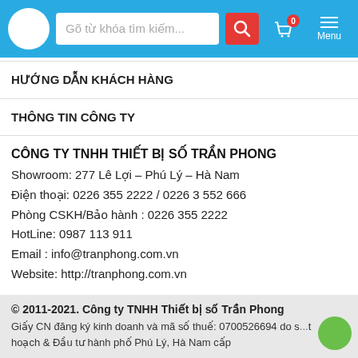Gõ từ khóa tìm kiếm... [search bar] [cart 0] [Menu]
HƯỚNG DẪN KHÁCH HÀNG
THÔNG TIN CÔNG TY
CÔNG TY TNHH THIẾT BỊ SỐ TRẦN PHONG
Showroom: 277 Lê Lợi – Phú Lý – Hà Nam
Điện thoại: 0226 355 2222 / 0226 3 552 666
Phòng CSKH/Bảo hành : 0226 355 2222
HotLine: 0987 113 911
Email : info@tranphong.com.vn
Website: http://tranphong.com.vn
© 2011-2021. Công ty TNHH Thiết bị số Trần Phong
Giấy CN đăng ký kinh doanh và mã số thuế: 0700526694 do s... hoạch & Đầu tư hành phố Phú Lý, Hà Nam cấp